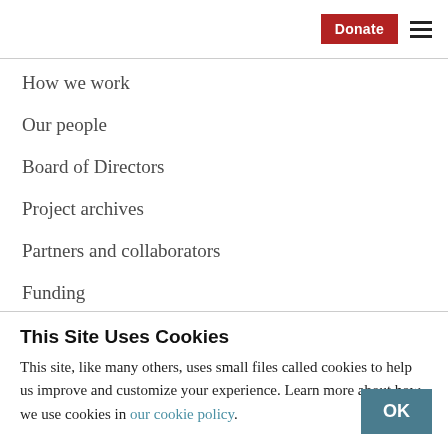Donate  ≡
How we work
Our people
Board of Directors
Project archives
Partners and collaborators
Funding
This Site Uses Cookies
This site, like many others, uses small files called cookies to help us improve and customize your experience. Learn more about how we use cookies in our cookie policy.
OK